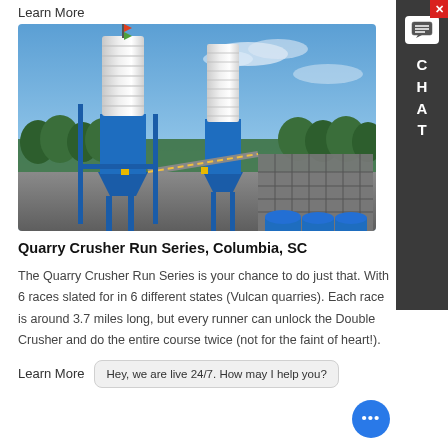Learn More
[Figure (photo): Industrial concrete batch plant with large blue and white cylindrical silos and steel framework structures under a blue sky with trees in background]
Quarry Crusher Run Series, Columbia, SC
The Quarry Crusher Run Series is your chance to do just that. With 6 races slated for in 6 different states (Vulcan quarries). Each race is around 3.7 miles long, but every runner can unlock the Double Crusher and do the entire course twice (not for the faint of heart!).
Learn More
Hey, we are live 24/7. How may I help you?